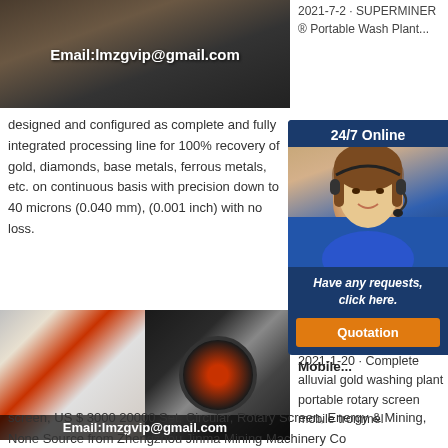[Figure (photo): Industrial facility/mining equipment photo with email overlay: Email:lmzgvip@gmail.com]
2021-7-2 · SUPERMINER ® Portable Wash Plant...
designed and configured as complete and fully integrated processing line for 100% recovery of gold, diamonds, base metals, ferrous metals, etc. on continuous basis with precision down to 40 microns (0.040 mm), (0.001 inch) with no loss.
[Figure (photo): Industrial mining/crushing equipment with flywheel, with email overlay: Email:lmzgvip@gmail.com]
Portable... Trommel... Mobile...
2021-1-20 · Complete alluvial gold washing plant portable rotary screen mobile trommel screen, US $ 3000 20000 Set, Circular, Rotary Screen, Energy & Mining, None Source from Zhengzhou Jinma Mining Machinery Co
[Figure (infographic): 24/7 Online chat widget with female customer service agent wearing headset, tagline: Have any requests, click here. Button: Quotation]